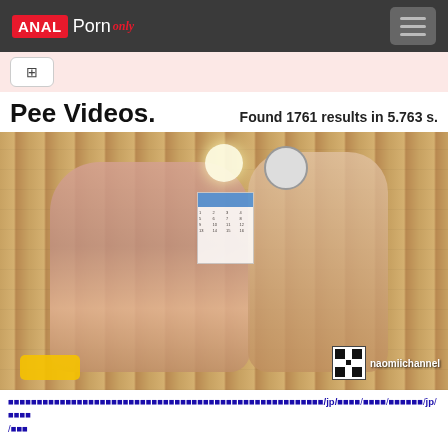ANAL Porn only — navigation header with hamburger menu
Filter controls bar
Pee Videos.
Found 1761 results in 5.763 s.
[Figure (photo): Thumbnail photo of two people in a wooden room]
URL path text with /jp/ segments